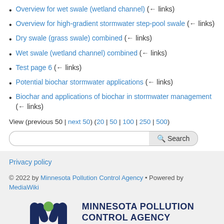Overview for wet swale (wetland channel)  (← links)
Overview for high-gradient stormwater step-pool swale  (← links)
Dry swale (grass swale) combined  (← links)
Wet swale (wetland channel) combined  (← links)
Test page 6  (← links)
Potential biochar stormwater applications  (← links)
Biochar and applications of biochar in stormwater management  (← links)
View (previous 50 | next 50) (20 | 50 | 100 | 250 | 500)
Search box
Privacy policy
© 2022 by Minnesota Pollution Control Agency • Powered by MediaWiki
Minnesota Pollution Control Agency logo